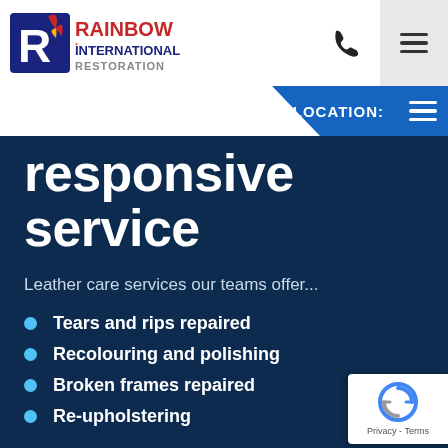[Figure (logo): Rainbow International Restoration logo with stylized R and flame, red and blue text]
LOCATION:
responsive service
Leather care services our teams offer...
Tears and rips repaired
Recolouring and polishing
Broken frames repaired
Re-upholstering